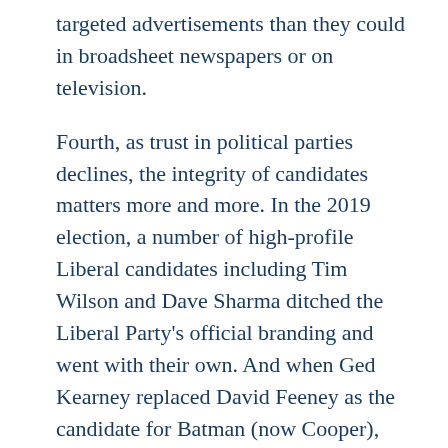targeted advertisements than they could in broadsheet newspapers or on television.
Fourth, as trust in political parties declines, the integrity of candidates matters more and more. In the 2019 election, a number of high-profile Liberal candidates including Tim Wilson and Dave Sharma ditched the Liberal Party's official branding and went with their own. And when Ged Kearney replaced David Feeney as the candidate for Batman (now Cooper), what was a marginal seat Labor feared the Greens might take became one of the safest ALP seats in the country. Imagine how much money the ALP has saved by Kearney's profile and stature in the community.
The popularity of candidates seen by their electorate as the tici...